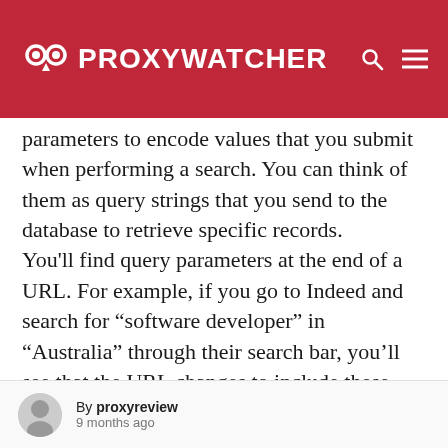PROXYWATCHER
parameters to encode values that you submit when performing a search. You can think of them as query strings that you send to the database to retrieve specific records. You'll find query parameters at the end of a URL. For example, if you go to Indeed and search for “software developer” in “Australia” through their search bar, you'll see that the URL changes to include these values as query parameters: The query parameters in this URL are?
By proxyreview
9 months ago